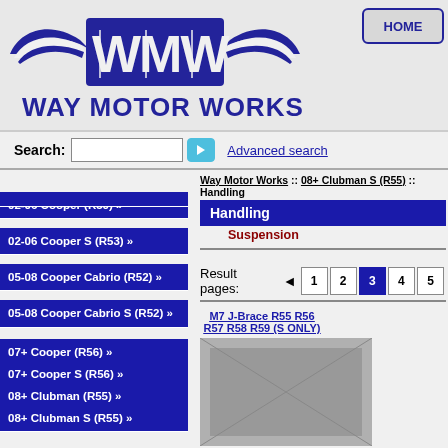[Figure (logo): Way Motor Works logo with wings and WMW text]
HOME
Search:  [input]  Advanced search
02-06 Cooper (R50) »
02-06 Cooper S (R53) »
05-08 Cooper Cabrio (R52) »
05-08 Cooper Cabrio S (R52) »
07+ Cooper (R56) »
07+ Cooper S (R56) »
08+ Clubman (R55) »
08+ Clubman S (R55) »
09+ Cooper Cabrio (R57) »
09+ Cooper Cabrio S (R57) »
11+ Countryman (R60) »
Way Motor Works :: 08+ Clubman S (R55) :: Handling
Handling
Suspension
Result pages: ◄ 1 2 3 4 5
M7 J-Brace R55 R56 R57 R58 R59 (S ONLY)